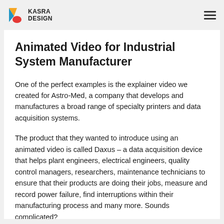KASRA DESIGN
Animated Video for Industrial System Manufacturer
One of the perfect examples is the explainer video we created for Astro-Med, a company that develops and manufactures a broad range of specialty printers and data acquisition systems.
The product that they wanted to introduce using an animated video is called Daxus – a data acquisition device that helps plant engineers, electrical engineers, quality control managers, researchers, maintenance technicians to ensure that their products are doing their jobs, measure and record power failure, find interruptions within their manufacturing process and many more. Sounds complicated?